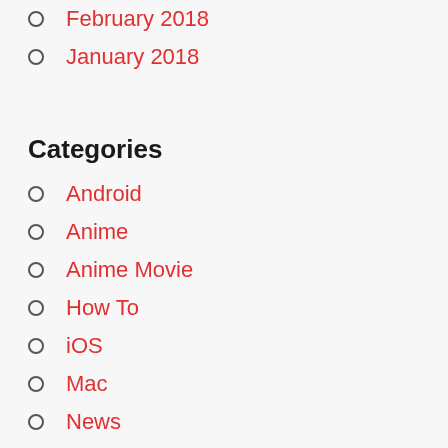February 2018
January 2018
Categories
Android
Anime
Anime Movie
How To
iOS
Mac
News
Otaku
Release Date
season 2